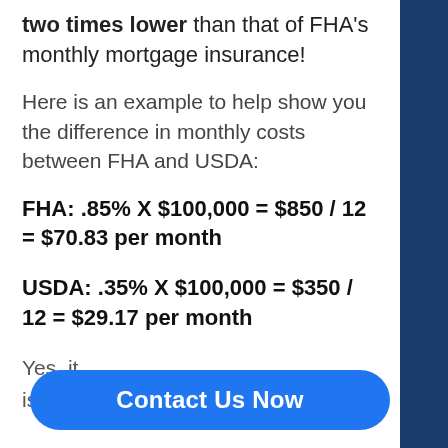two times lower than that of FHA's monthly mortgage insurance!
Here is an example to help show you the difference in monthly costs between FHA and USDA:
FHA: .85% X $100,000 = $850 / 12 = $70.83 per month
USDA: .35% X $100,000 = $350 / 12 = $29.17 per month
Yes, it is
Contact Us Now